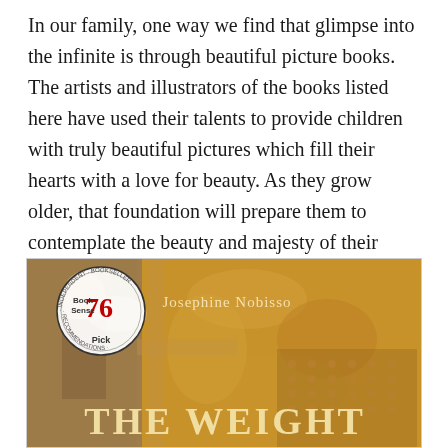In our family, one way we find that glimpse into the infinite is through beautiful picture books. The artists and illustrators of the books listed here have used their talents to provide children with truly beautiful pictures which fill their hearts with a love for beauty. As they grow older, that foundation will prepare them to contemplate the beauty and majesty of their Creator.
[Figure (photo): Book cover of 'The Weight' by Josephine Nobisso, featuring a medieval-style illustration with an angel figure on the left, ornate golden and brown decorative background, a circular 'Book Sense 76 Pick' badge in the upper left, the author's name 'Josephine Nobisso' in the upper right, and the title 'THE WEIGHT' in large letters at the bottom.]